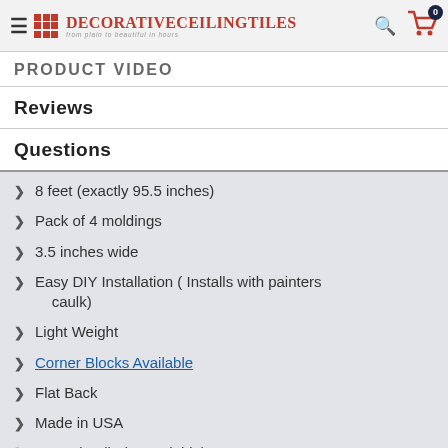DecorativeCeilingTiles - from plain to beautiful in hours
PRODUCT VIDEO
REVIEWS
QUESTIONS
8 feet (exactly 95.5 inches)
Pack of 4 moldings
3.5 inches wide
Easy DIY Installation ( Installs with painters caulk)
Light Weight
Corner Blocks Available
Flat Back
Made in USA
Eco Friendly (Recyclable)
No Nails or Fasteners